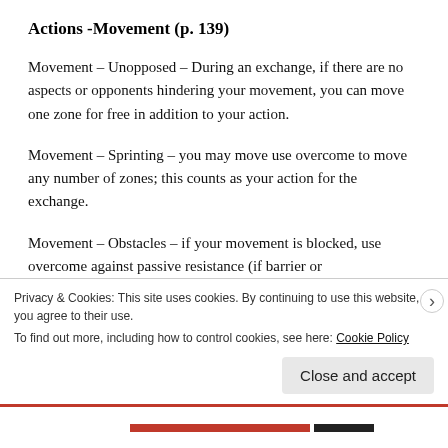Actions -Movement (p. 139)
Movement – Unopposed – During an exchange, if there are no aspects or opponents hindering your movement, you can move one zone for free in addition to your action.
Movement – Sprinting – you may move use overcome to move any number of zones; this counts as your action for the exchange.
Movement – Obstacles – if your movement is blocked, use overcome against passive resistance (if barrier or
Privacy & Cookies: This site uses cookies. By continuing to use this website, you agree to their use.
To find out more, including how to control cookies, see here: Cookie Policy
Close and accept